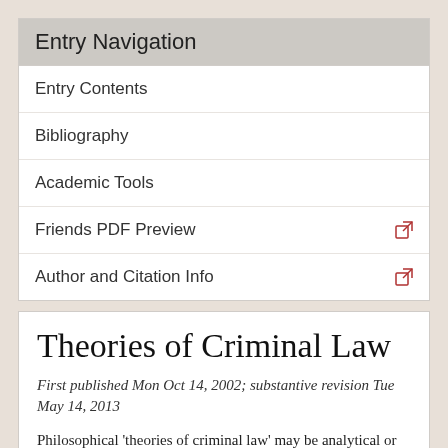Entry Navigation
Entry Contents
Bibliography
Academic Tools
Friends PDF Preview
Author and Citation Info
Theories of Criminal Law
First published Mon Oct 14, 2002; substantive revision Tue May 14, 2013
Philosophical ‘theories of criminal law’ may be analytical or normative (§ 1). Once we have identified the salient features that distinguish criminal law from other kinds of law (§2), we ask whether and why we should maintain